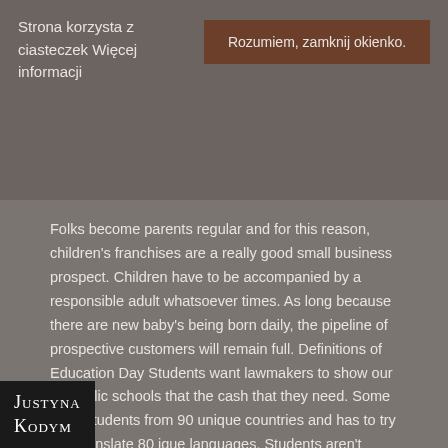Strona korzysta z ciasteczek Więcej informacji
Rozumiem, zamknij okienko.
Folks become parents regular and for this reason, children's franchises are a really good small business prospect. Children have to be accompanied by a responsible adult whatsoever times. As long because there are new baby's being born daily, the pipeline of prospective customers will remain full. Definitions of Education Day Students want lawmakers to show our 14 public schools that the cash that they need. Some have students from 90 unique countries and has to try and translate 80 ique languages. Students aren't allowed tart the internship until all essential classroom and lab hours have been
Justyna Kodym